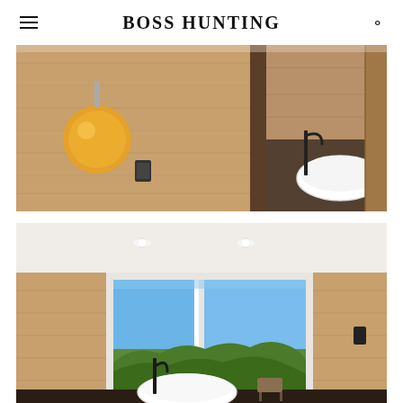BOSS HUNTING
[Figure (photo): Interior bathroom photo showing warm wood-paneled walls, a large amber globe pendant light on the left side, a black smart home panel on the wall, and on the right side a white freestanding oval bathtub with a tall black floor-mounted faucet on reflective dark tile flooring]
[Figure (photo): Interior bathroom photo showing warm wood-paneled walls with a large floor-to-ceiling window/sliding glass door revealing a panoramic view of green rolling hills and blue sky, a white freestanding oval bathtub in the foreground with a black floor-mounted faucet, and recessed ceiling lights above]